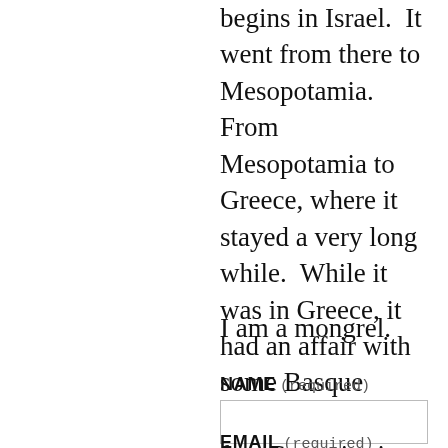begins in Israel.  It went from there to Mesopotamia.  From Mesopotamia to Greece, where it stayed a very long while.  While it was in Greece, it had an affair with some Basque people.  After a few Centuries in the Med, we moved to Scotland.  From Scotland, to the New World.
I am a mongrel.
NAME (required)
EMAIL (required)